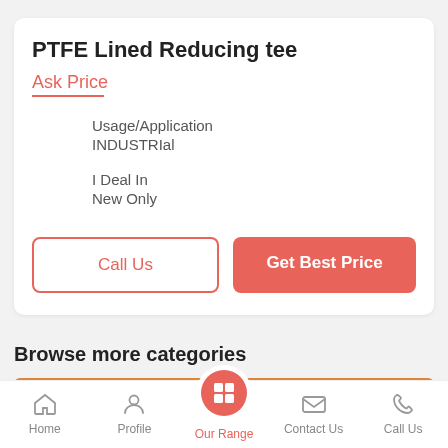PTFE Lined Reducing tee
Ask Price
Usage/Application
INDUSTRIal
I Deal In
New Only
Call Us
Get Best Price
Browse more categories
Home  Profile  Our Range  Contact Us  Call Us